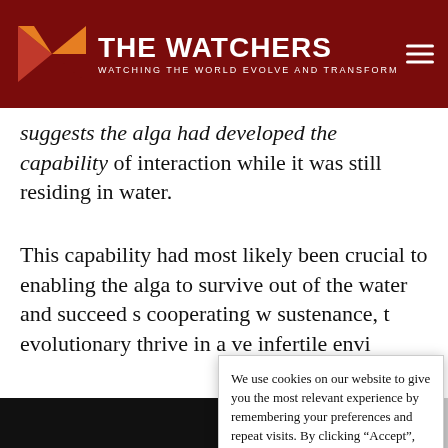THE WATCHERS — WATCHING THE WORLD EVOLVE AND TRANSFORM
suggests the alga had developed the capability of interaction while it was still residing in water.
This capability had most likely been crucial to enabling the alga to survive out of the water and succeed [in colonizing land] by cooperating w[ith fungi for sustenance, t]hrough [some] evolutionary [advantage letting it] thrive in a ve[ry harsh and] infertile envi[ronment].
We use cookies on our website to give you the most relevant experience by remembering your preferences and repeat visits. By clicking “Accept”, you consent to the use of ALL the cookies. Do not sell my personal information.
ASTEROID 2022 QN